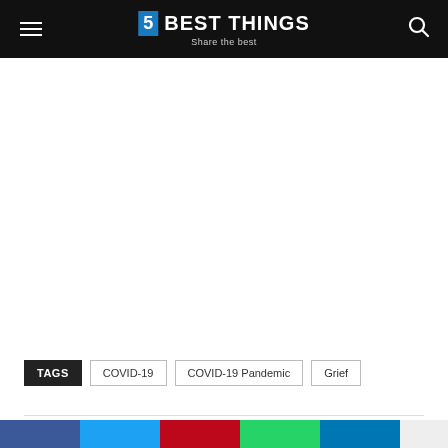5 BEST THINGS — Share the best
TAGS: COVID-19  COVID-19 Pandemic  Grief
[Figure (other): Social share buttons row at bottom: Facebook, Twitter, Pinterest, WhatsApp, LinkedIn, and one more button]